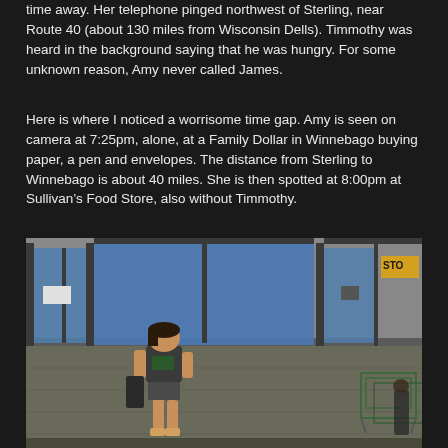time away. Her telephone pinged northwest of Sterling, near Route 40 (about 130 miles from Wisconsin Dells). Timmothy was heard in the background saying that he was hungry. For some unknown reason, Amy never called James.
Here is where I noticed a worrisome time gap. Amy is seen on camera at 7:25pm, alone, at a Family Dollar in Winnebago buying paper, a pen and envelopes. The distance from Sterling to Winnebago is about 40 miles. She is then spotted at 8:00pm at Sullivan's Food Store, also without Timmothy.
[Figure (photo): Security camera footage showing a woman walking through the entrance area of a store. She is wearing a dark t-shirt and shorts, carrying a black bag. Large glass doors and windows are visible in the background showing a blue exterior. Shopping carts are visible on the right side.]